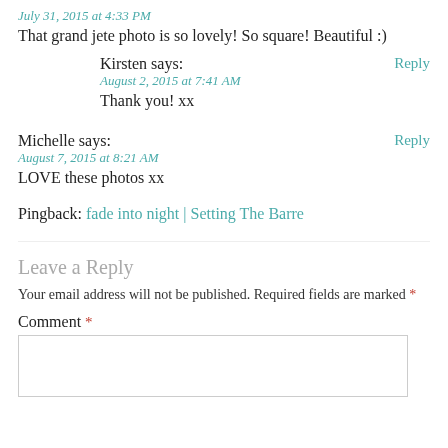July 31, 2015 at 4:33 PM
That grand jete photo is so lovely! So square! Beautiful :)
Kirsten says:
August 2, 2015 at 7:41 AM
Thank you! xx
Michelle says:
August 7, 2015 at 8:21 AM
LOVE these photos xx
Pingback: fade into night | Setting The Barre
Leave a Reply
Your email address will not be published. Required fields are marked *
Comment *